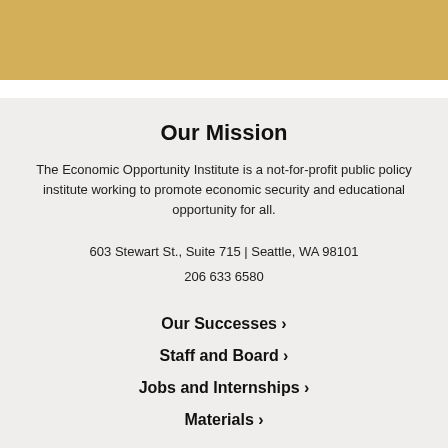[Figure (other): Gold/tan colored banner bar at top of page]
Our Mission
The Economic Opportunity Institute is a not-for-profit public policy institute working to promote economic security and educational opportunity for all.
603 Stewart St., Suite 715 | Seattle, WA 98101
206 633 6580
Our Successes >
Staff and Board >
Jobs and Internships >
Materials >